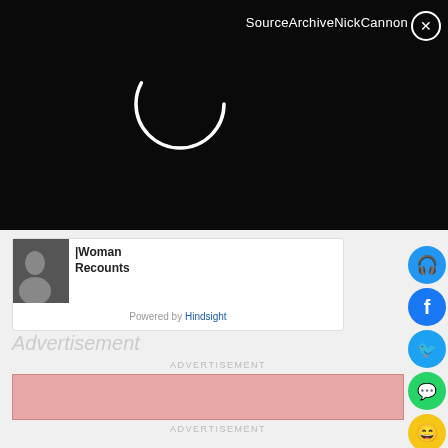SourceArchiveNickCannon ✕
[Figure (screenshot): Loading spinner (circular arc) on black background]
|Woman Recounts
Powered by Hindsight
Advertisement
ADVERTISEMENT
[Figure (other): Advertisement placeholder block (salmon/pink color)]
ADVERTISEMENT